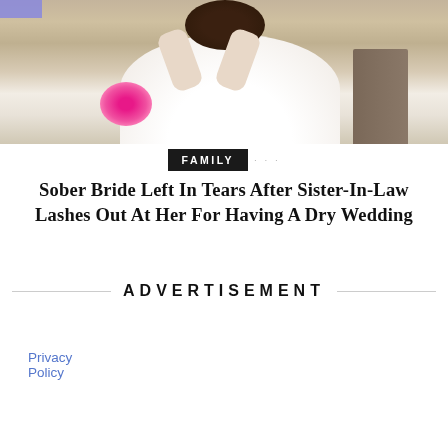[Figure (photo): A bride in a white wedding dress sitting on steps, holding a pink bouquet of flowers, with her head bowed. Background shows stone steps and architectural elements.]
FAMILY ...
Sober Bride Left In Tears After Sister-In-Law Lashes Out At Her For Having A Dry Wedding
ADVERTISEMENT
Privacy Policy